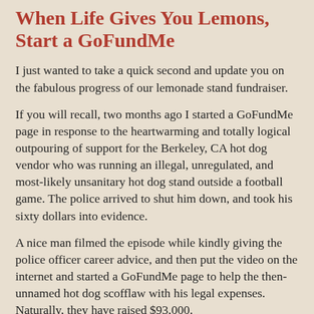When Life Gives You Lemons, Start a GoFundMe
I just wanted to take a quick second and update you on the fabulous progress of our lemonade stand fundraiser.
If you will recall, two months ago I started a GoFundMe page in response to the heartwarming and totally logical outpouring of support for the Berkeley, CA hot dog vendor who was running an illegal, unregulated, and most-likely unsanitary hot dog stand outside a football game. The police arrived to shut him down, and took his sixty dollars into evidence.
A nice man filmed the episode while kindly giving the police officer career advice, and then put the video on the internet and started a GoFundMe page to help the then-unnamed hot dog scofflaw with his legal expenses. Naturally, they have raised $93,000.
Not wanting to let that kind of largess pass my neighborhood by, I started my own GoFundMe to raise money for our